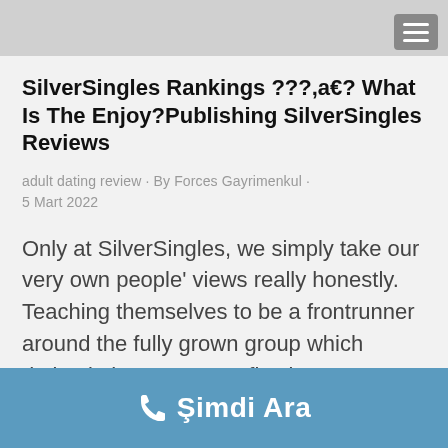SilverSingles Rankings ???,a€? What Is The Enjoy?Publishing SilverSingles Reviews
adult dating review · By Forces Gayrimenkul · 5 Mart 2022
Only at SilverSingles, we simply take our very own people' views really honestly. Teaching themselves to be a frontrunner around the fully grown group which dating in huge part a reflective procedure; we
Şimdi Ara